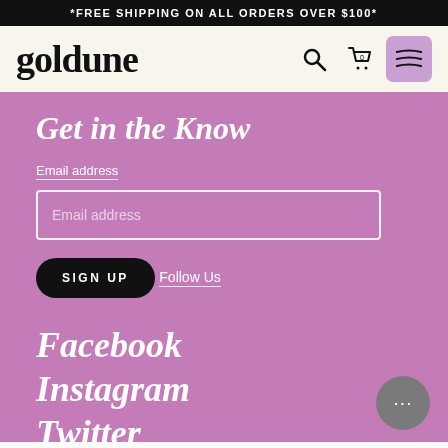*FREE SHIPPING ON ALL ORDERS OVER $100*
[Figure (logo): Goldune logo with search icon, cart icon (0 items), and menu icon on a cream background]
Get in the Know
Email address
Email address (input field placeholder)
SIGN UP
Follow Us
Facebook
Instagram
Twitter